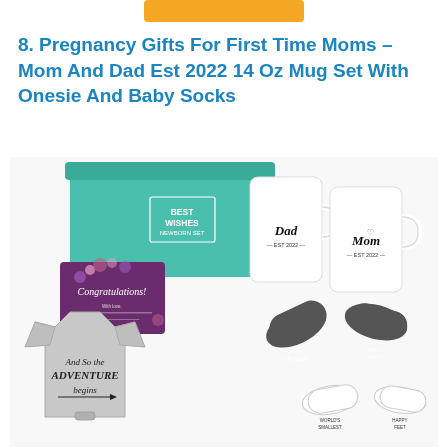[Figure (other): Orange button/banner at the top of the page]
8. Pregnancy Gifts For First Time Moms – Mom And Dad Est 2022 14 Oz Mug Set With Onesie And Baby Socks
[Figure (photo): Product photo showing a pregnancy gift set: teal gift box with 'BEST WISHES' text, two white mugs labeled 'Dad' and 'Mom' with EST 2022, a purple Congratulations card, a gray baby onesie reading 'And So the Adventure Begins', and two pairs of socks (gray and white) with text on soles.]